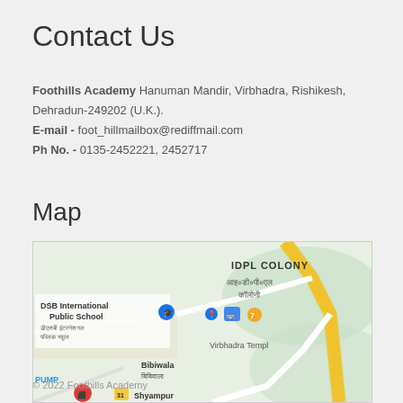Contact Us
Foothills Academy Hanuman Mandir, Virbhadra, Rishikesh, Dehradun-249202 (U.K.).
E-mail - foot_hillmailbox@rediffmail.com
Ph No. - 0135-2452221, 2452717
Map
[Figure (map): Google Maps view showing IDPL Colony, DSB International Public School, Virbhadra Temple, Bibiwala, Shyampur area near Rishikesh with roads and landmarks.]
© 2022 Foothills Academy